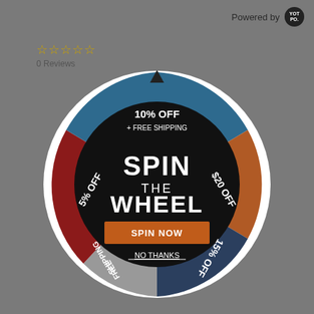Powered by YOTPO
☆☆☆☆☆
0 Reviews
[Figure (infographic): Spin the wheel promotional popup. A circular spinning wheel divided into 5 colored segments: top blue segment labeled '10% OFF + FREE SHIPPING', right orange-brown segment labeled '$20 OFF', bottom-right dark blue segment labeled '15% OFF', bottom-left gray segment labeled 'FREE SHIPPING', left red segment labeled '5% OFF'. The center of the wheel is black with white bold text 'SPIN THE WHEEL'. Below that text is an orange 'SPIN NOW' button. Below the button is a white underlined 'NO THANKS' link. The wheel has a white border ring.]